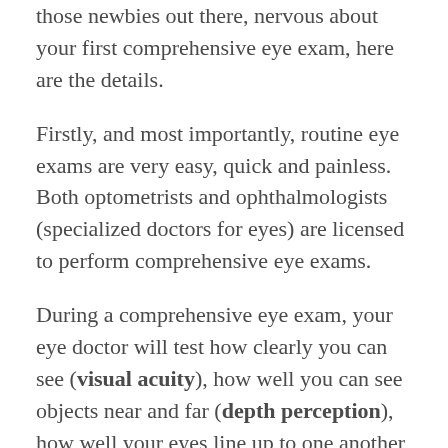those newbies out there, nervous about your first comprehensive eye exam, here are the details.
Firstly, and most importantly, routine eye exams are very easy, quick and painless. Both optometrists and ophthalmologists (specialized doctors for eyes) are licensed to perform comprehensive eye exams.
During a comprehensive eye exam, your eye doctor will test how clearly you can see (visual acuity), how well you can see objects near and far (depth perception), how well your eyes line up to one another (eye alignment), and eye movement (tested by having you follow a light or a finger as it moves through space). A